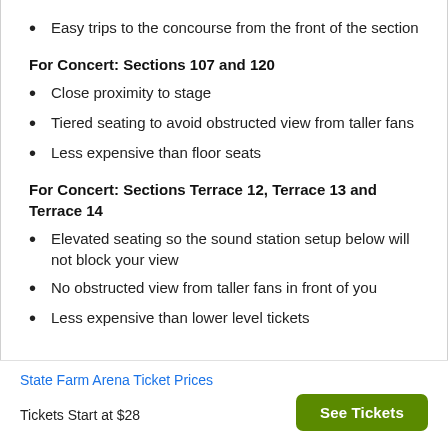Easy trips to the concourse from the front of the section
For Concert: Sections 107 and 120
Close proximity to stage
Tiered seating to avoid obstructed view from taller fans
Less expensive than floor seats
For Concert: Sections Terrace 12, Terrace 13 and Terrace 14
Elevated seating so the sound station setup below will not block your view
No obstructed view from taller fans in front of you
Less expensive than lower level tickets
State Farm Arena Ticket Prices
Tickets Start at $28
See Tickets